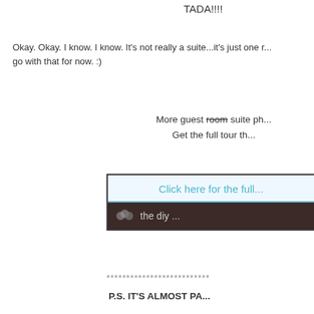TADA!!!!
Okay. Okay. I know. I know. It's not really a suite...it's just one r... go with that for now. :)
More guest room suite ph... Get the full tour th...
[Figure (screenshot): A banner button with light blue top section reading 'Click here for the full...' and dark brown bottom section with a hexagonal icon and text 'the diy ...']
**************************
P.S. IT'S ALMOST PA...
Remember to get ready for the 2011 1st Project of the Year Pa...